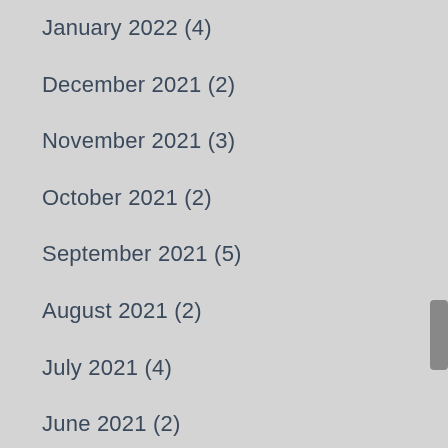January 2022 (4)
December 2021 (2)
November 2021 (3)
October 2021 (2)
September 2021 (5)
August 2021 (2)
July 2021 (4)
June 2021 (2)
May 2021 (3)
April 2021 (3)
March 2021 (3)